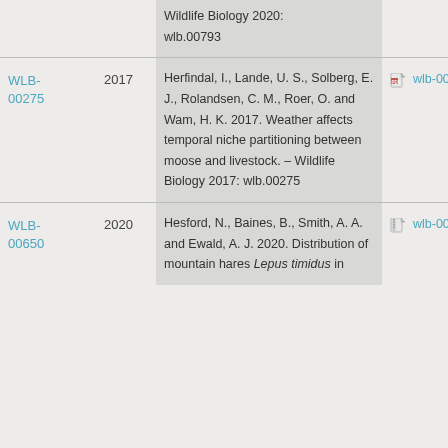| ID | Year | Reference | File |
| --- | --- | --- | --- |
|  |  | Wildlife Biology 2020:
wlb.00793 |  |
| WLB-00275 | 2017 | Herfindal, I., Lande, U. S., Solberg, E. J., Rolandsen, C. M., Roer, O. and Wam, H. K. 2017. Weather affects temporal niche partitioning between moose and livestock. – Wildlife Biology 2017: wlb.00275 | wlb-00275.pdf |
| WLB-00650 | 2020 | Hesford, N., Baines, B., Smith, A. A. and Ewald, A. J. 2020. Distribution of mountain hares Lepus timidus in | wlb-00650.zip |